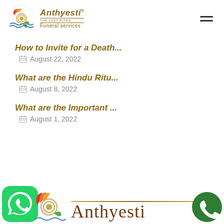[Figure (logo): Anthyesti Funeral Services logo with decorative circular emblem and text]
How to Invite for a Death...
August 22, 2022
What are the Hindu Ritu...
August 8, 2022
What are the Important ...
August 1, 2022
[Figure (logo): Anthyesti footer logo with WhatsApp icon, decorative emblem, brand name text, and phone icon]